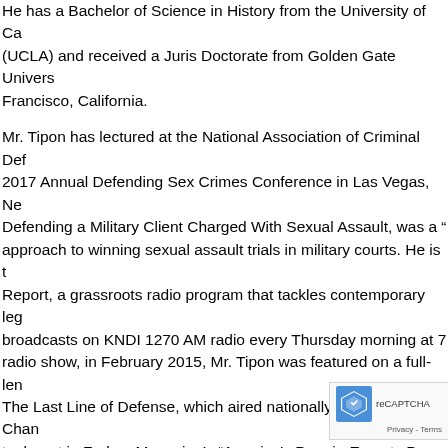He has a Bachelor of Science in History from the University of Ca... (UCLA) and received a Juris Doctorate from Golden Gate Univers... Francisco, California.
Mr. Tipon has lectured at the National Association of Criminal Def... 2017 Annual Defending Sex Crimes Conference in Las Vegas, Ne... Defending a Military Client Charged With Sexual Assault, was a "..." approach to winning sexual assault trials in military courts. He is t... Report, a grassroots radio program that tackles contemporary leg... broadcasts on KNDI 1270 AM radio every Thursday morning at 7... radio show, in February 2015, Mr. Tipon was featured on a full-len... The Last Line of Defense, which aired nationally on The Bio Chan... took part in Forbes Magazine's "America's PremierExperts Prese... for the New Year and Beyond." Later that year he was featured o... filmed live in New York City. He has also been recogniz... Association as one of the Top 100 Trial Lawyers in the ...